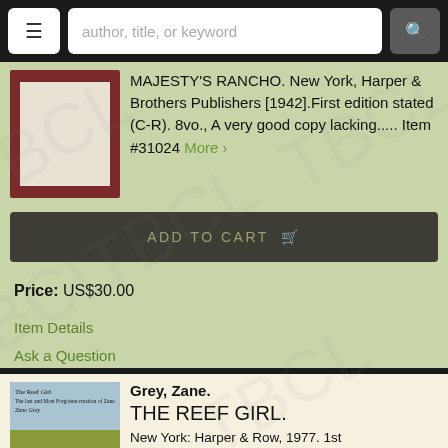author, title, or keyword
MAJESTY'S RANCHO. New York, Harper & Brothers Publishers [1942].First edition stated (C-R). 8vo., A very good copy lacking..... Item #31024 More
ADD TO CART
Price: US$30.00
Item Details
Ask a Question
Grey, Zane.
THE REEF GIRL.
New York: Harper & Row, 1977. 1st Edition. More...